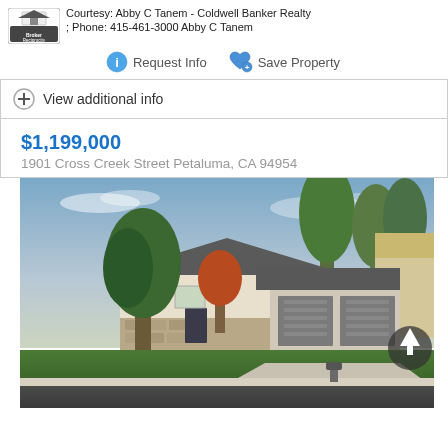Courtesy: Abby C Tanem - Coldwell Banker Realty; Phone: 415-461-3000 Abby C Tanem
Request Info   Save Property
View additional info
$1,199,000
1901 Cross Creek Street Petaluma, CA 94954
[Figure (photo): Exterior photo of a single-story house at 1901 Cross Creek Street, Petaluma CA. Stone and stucco facade, two-car gray garage door, large trees in front yard, green lawn, driveway.]